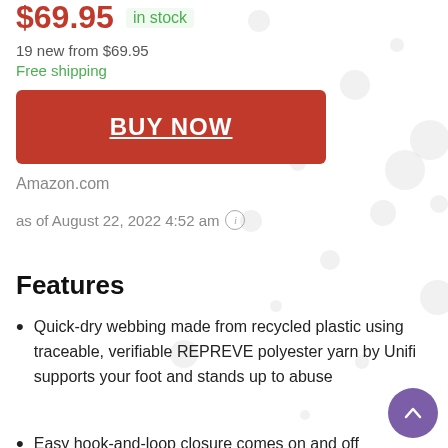$69.95  in stock
19 new from $69.95
Free shipping
BUY NOW
Amazon.com
as of August 22, 2022 4:52 am ℹ
Features
Quick-dry webbing made from recycled plastic using traceable, verifiable REPREVE polyester yarn by Unifi supports your foot and stands up to abuse
Easy hook-and-loop closure comes on and off